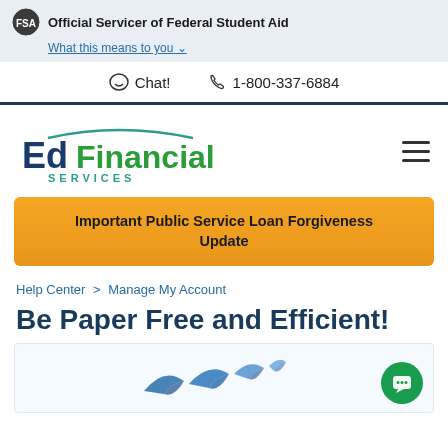Official Servicer of Federal Student Aid — What this means to you
Chat!  1-800-337-6884
[Figure (logo): EdFinancial Services logo with blue and green text and arc]
Important Public Service Loan Forgiveness Update
Help Center > Manage My Account
Be Paper Free and Efficient!
[Figure (illustration): Birds/paper airplanes illustration in blue tones at bottom of page]